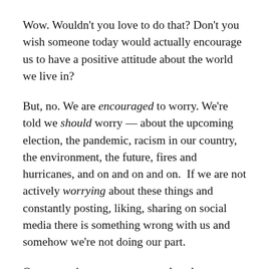Wow. Wouldn't you love to do that? Don't you wish someone today would actually encourage us to have a positive attitude about the world we live in?
But, no. We are encouraged to worry. We're told we should worry — about the upcoming election, the pandemic, racism in our country, the environment, the future, fires and hurricanes, and on and on and on.  If we are not actively worrying about these things and constantly posting, liking, sharing on social media there is something wrong with us and somehow we're not doing our part.
Our entertainment venues are closed, so we turn to the media and watch 24-hour news. We stream the